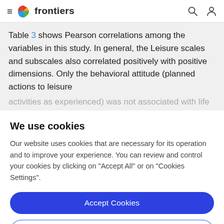frontiers
Table 3 shows Pearson correlations among the variables in this study. In general, the Leisure scales and subscales also correlated positively with positive dimensions. Only the behavioral attitude (planned actions to leisure activities as experienced) was not associated with life
We use cookies
Our website uses cookies that are necessary for its operation and to improve your experience. You can review and control your cookies by clicking on "Accept All" or on "Cookies Settings".
Accept Cookies
Cookies Settings